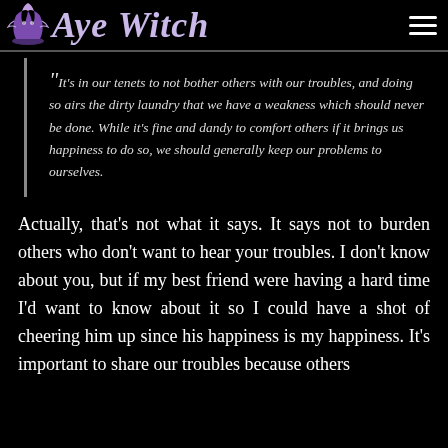Aye Witch
"It's in our tenets to not bother others with our troubles, and doing so airs the dirty laundry that we have a weakness which should never be done. While it's fine and dandy to comfort others if it brings us happiness to do so, we should generally keep our problems to ourselves.
Actually, that's not what it says. It says not to burden others who don't want to hear your troubles. I don't know about you, but if my best friend were having a hard time I'd want to know about it so I could have a shot of cheering him up since his happiness is my happiness. It's important to share our troubles because others